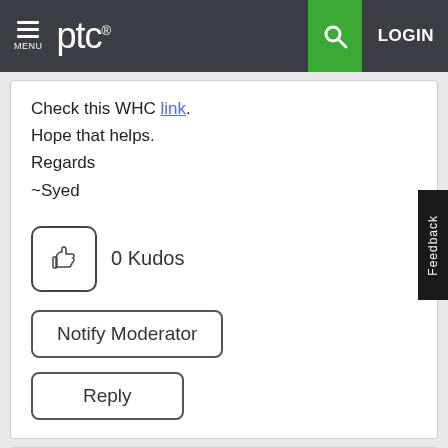MENU | ptc® | [search] | LOGIN
Check this WHC link.
Hope that helps.
Regards
~Syed
0 Kudos
Notify Moderator
Reply
BenPerry
12-Amethyst